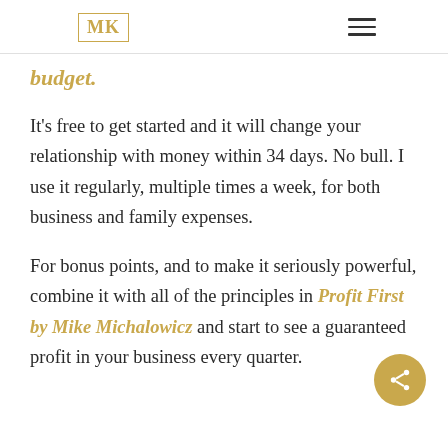MK
budget.
It's free to get started and it will change your relationship with money within 34 days. No bull. I use it regularly, multiple times a week, for both business and family expenses.
For bonus points, and to make it seriously powerful, combine it with all of the principles in Profit First by Mike Michalowicz and start to see a guaranteed profit in your business every quarter.